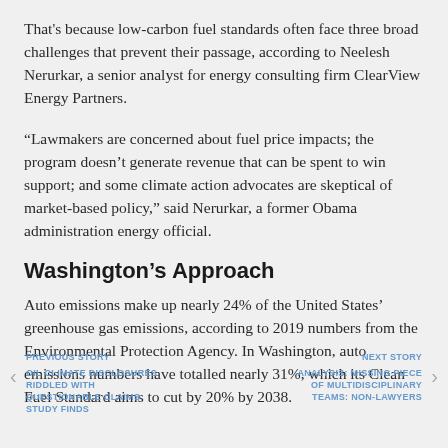That's because low-carbon fuel standards often face three broad challenges that prevent their passage, according to Neelesh Nerurkar, a senior analyst for energy consulting firm ClearView Energy Partners.
“Lawmakers are concerned about fuel price impacts; the program doesn’t generate revenue that can be spent to win support; and some climate action advocates are skeptical of market-based policy,” said Nerurkar, a former Obama administration energy official.
Washington’s Approach
Auto emissions make up nearly 24% of the United States’ greenhouse gas emissions, according to 2019 numbers from the Environmental Protection Agency. In Washington, auto emissions numbers have totalled nearly 31%, which its Clean Fuel Standard aims to cut by 20% by 2038.
PREVIOUS STORY
OIL CLIMATE DISCLOSURES RIDDLED WITH QUESTIONABLE CLAIMS, STUDY FINDS
NEXT STORY
ANALYSIS: MISSING PIECE OF MULTIDISCIPLINARY TEAMS: NON-LAWYERS